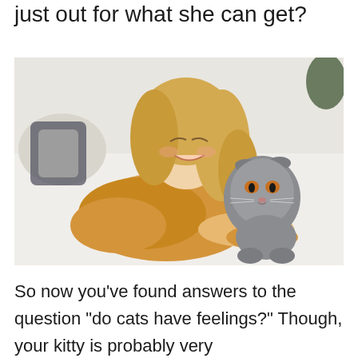just out for what she can get?
[Figure (photo): A smiling blonde woman in a yellow knit sweater lying on a bed, cuddling a grey Scottish Fold cat with orange eyes.]
So now you’ve found answers to the question “do cats have feelings?” Though, your kitty is probably very